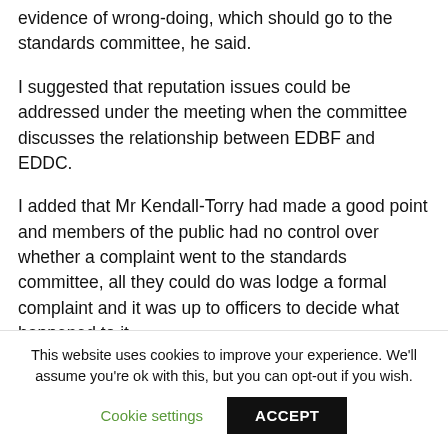evidence of wrong-doing, which should go to the standards committee, he said.
I suggested that reputation issues could be addressed under the meeting when the committee discusses the relationship between EDBF and EDDC.
I added that Mr Kendall-Torry had made a good point and members of the public had no control over whether a complaint went to the standards committee, all they could do was lodge a formal complaint and it was up to officers to decide what happened to it.
This website uses cookies to improve your experience. We'll assume you're ok with this, but you can opt-out if you wish.